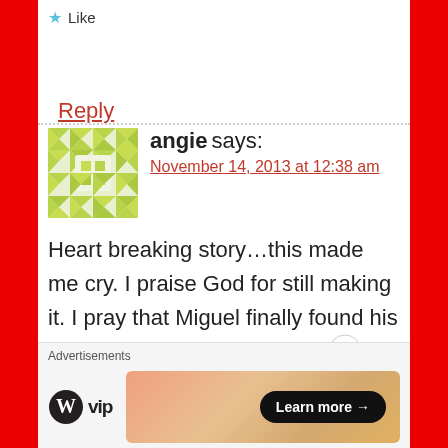★ Like
Reply
angie says: November 14, 2013 at 12:38 am
Heart breaking story...this made me cry. I praise God for still making it. I pray that Miguel finally found his family...and praying for all those victims that amidst crisis they will still be able to stand up, recover and continue to run the race. Padayon Sir! Padayon
Advertisements
[Figure (logo): WordPress VIP logo and advertisement banner with Learn more button]